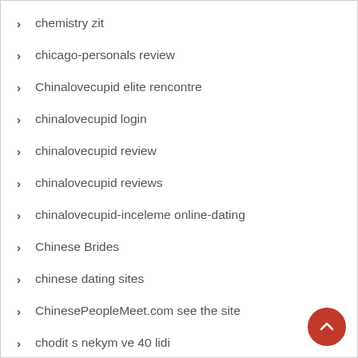chemistry zit
chicago-personals review
Chinalovecupid elite rencontre
chinalovecupid login
chinalovecupid review
chinalovecupid reviews
chinalovecupid-inceleme online-dating
Chinese Brides
chinese dating sites
ChinesePeopleMeet.com see the site
chodit s nekym ve 40 lidi
Christian Cafe app seiten
Christian Connection co to jest
Christian Connection review
christian connection reviews